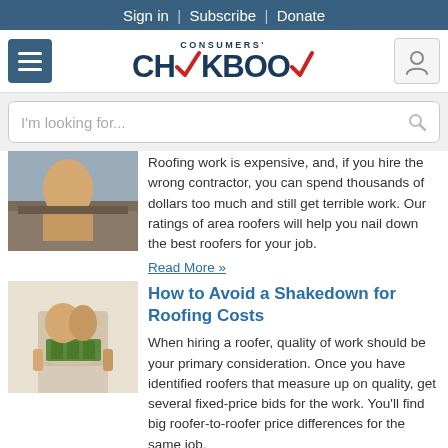Sign in | Subscribe | Donate
[Figure (logo): Consumers' Checkbook logo with red checkmark]
I'm looking for...
Roofing work is expensive, and, if you hire the wrong contractor, you can spend thousands of dollars too much and still get terrible work. Our ratings of area roofers will help you nail down the best roofers for your job.
Read More »
How to Avoid a Shakedown for Roofing Costs
When hiring a roofer, quality of work should be your primary consideration. Once you have identified roofers that measure up on quality, get several fixed-price bids for the work. You'll find big roofer-to-roofer price differences for the same job.